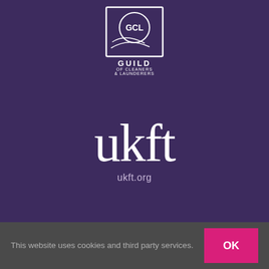[Figure (logo): GCL Guild of Cleaners & Launderers logo — white logo on dark purple background. Shows a circular emblem with 'GCL' text inside, below the words 'GUILD OF CLEANERS & LAUNDERERS' in white capital letters.]
[Figure (logo): ukft logo — large white serif text 'ukft' with 'ukft.org' in smaller text below, on dark purple background.]
This website uses cookies and third party services.
OK